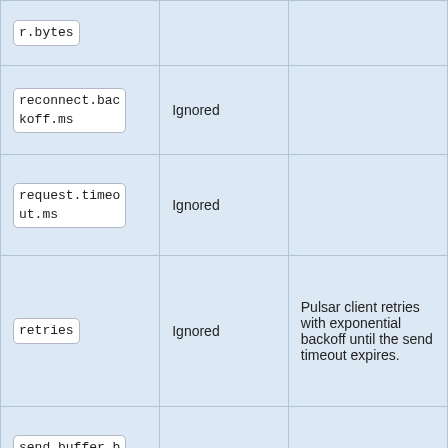| r.bytes |  |  |
| reconnect.backoff.ms | Ignored |  |
| request.timeout.ms | Ignored |  |
| retries | Ignored | Pulsar client retries with exponential backoff until the send timeout expires. |
| send.buffer.bytes | Ignored |  |
| timeout.ms | Yes |  |
| value.seriali | Yes |  |